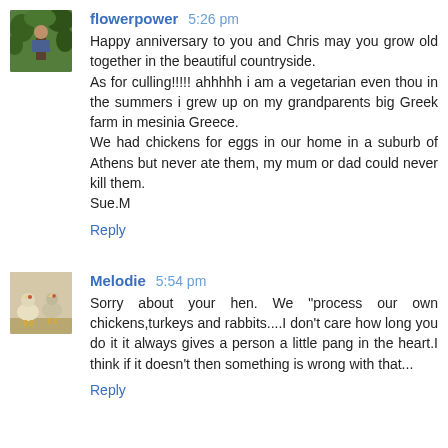[Figure (photo): Avatar photo of flowerpower user showing a person standing outdoors among green foliage]
flowerpower 5:26 pm
Happy anniversary to you and Chris may you grow old together in the beautiful countryside.
As for culling!!!!! ahhhhh i am a vegetarian even thou in the summers i grew up on my grandparents big Greek farm in mesinia Greece.
We had chickens for eggs in our home in a suburb of Athens but never ate them, my mum or dad could never kill them.
Sue.M
Reply
[Figure (photo): Avatar photo of Melodie user showing two chickens]
Melodie 5:54 pm
Sorry about your hen. We "process our own chickens,turkeys and rabbits....I don't care how long you do it it always gives a person a little pang in the heart.I think if it doesn't then something is wrong with that...
Reply